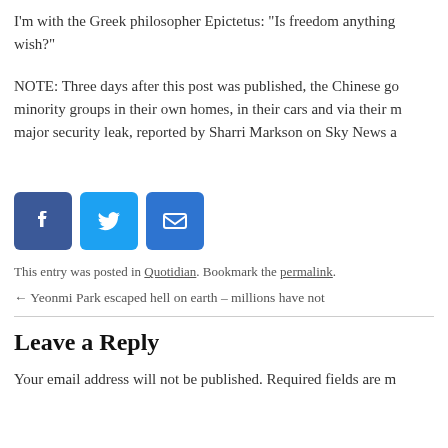I'm with the Greek philosopher Epictetus: “Is freedom anything else than the right to live as we wish?”
NOTE: Three days after this post was published, the Chinese government admitted to surveilling minority groups in their own homes, in their cars and via their mobiles. This happened through a major security leak, reported by Sharri Markson on Sky News a
[Figure (other): Social sharing icons: Facebook (blue square with f), Twitter (blue square with bird), Email (blue square with envelope)]
This entry was posted in Quotidian. Bookmark the permalink.
← Yeonmi Park escaped hell on earth – millions have not
Leave a Reply
Your email address will not be published. Required fields are m